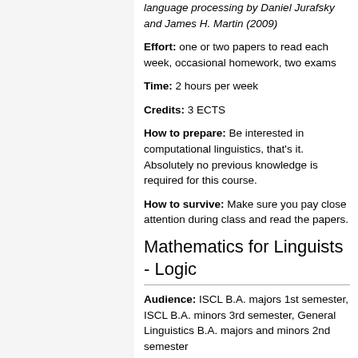language processing by Daniel Jurafsky and James H. Martin (2009)
Effort: one or two papers to read each week, occasional homework, two exams
Time: 2 hours per week
Credits: 3 ECTS
How to prepare: Be interested in computational linguistics, that's it. Absolutely no previous knowledge is required for this course.
How to survive: Make sure you pay close attention during class and read the papers.
Mathematics for Linguists - Logic
Audience: ISCL B.A. majors 1st semester, ISCL B.A. minors 3rd semester, General Linguistics B.A. majors and minors 2nd semester
Semester described here: WS 2013/14
Lecturer: Prof. Gerhard Jäger